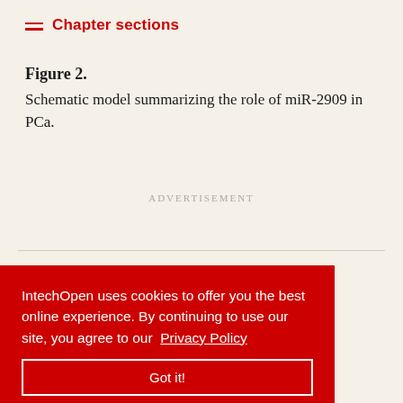Chapter sections
Figure 2. Schematic model summarizing the role of miR-2909 in PCa.
Advertisement
IntechOpen uses cookies to offer you the best online experience. By continuing to use our site, you agree to our Privacy Policy Got it!
no-acid itin-like , ISG15 has a ubiquitin-